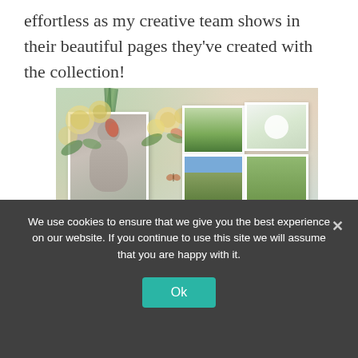effortless as my creative team shows in their beautiful pages they've created with the collection!
[Figure (illustration): A decorative scrapbook collage featuring floral elements, ribbons, a black-and-white portrait photo on the left, garden photos (flowers and a house) arranged in a grid on the right, script text reading 'grateful' and 'grow', and a 'happiness' label box in the lower right corner.]
We use cookies to ensure that we give you the best experience on our website. If you continue to use this site we will assume that you are happy with it.